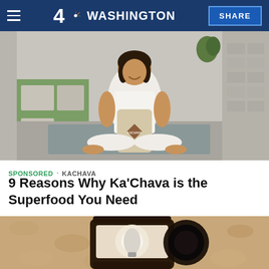NBC 4 Washington — SHARE
[Figure (photo): Woman in white athletic wear sitting cross-legged on a yoga mat outdoors, holding a Ka'Chava bag, smiling, with garden stepping stones and green grass in the background]
SPONSORED · KACHAVA
9 Reasons Why Ka'Chava is the Superfood You Need
[Figure (photo): Close-up of a dark brown outdoor wall lantern/light fixture mounted on a tan textured stucco wall]